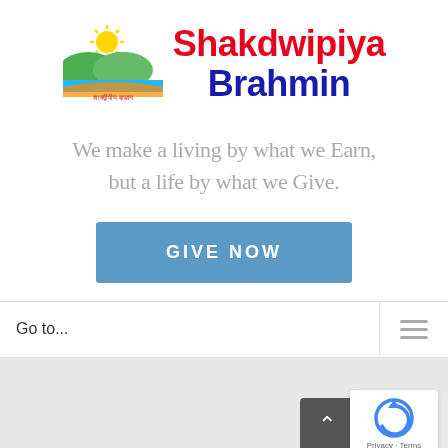[Figure (logo): Shakdwipiya Brahmin website logo with sun, hills, and river landscape with Hindi text]
Shakdwipiya Brahmin
We make a living by what we Earn, but a life by what we Give.
GIVE NOW
Go to...
[Figure (other): reCAPTCHA badge with Privacy and Terms links]